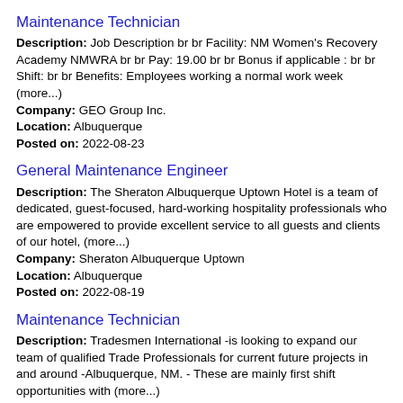Maintenance Technician
Description: Job Description br br Facility: NM Women's Recovery Academy NMWRA br br Pay: 19.00 br br Bonus if applicable : br br Shift: br br Benefits: Employees working a normal work week (more...)
Company: GEO Group Inc.
Location: Albuquerque
Posted on: 2022-08-23
General Maintenance Engineer
Description: The Sheraton Albuquerque Uptown Hotel is a team of dedicated, guest-focused, hard-working hospitality professionals who are empowered to provide excellent service to all guests and clients of our hotel, (more...)
Company: Sheraton Albuquerque Uptown
Location: Albuquerque
Posted on: 2022-08-19
Maintenance Technician
Description: Tradesmen International -is looking to expand our team of qualified Trade Professionals for current future projects in and around -Albuquerque, NM. - These are mainly first shift opportunities with (more...)
Company: Tradesmen International, LLC
Location: Albuquerque
Posted on: 2022-08-26